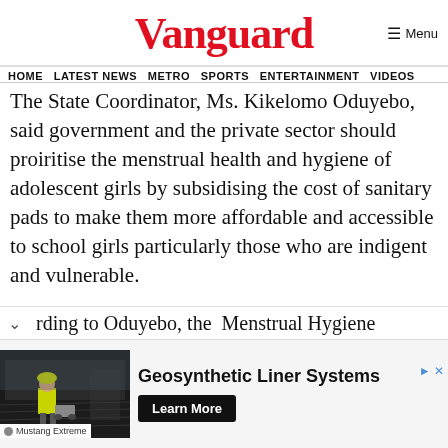Vanguard
HOME  LATEST NEWS  METRO  SPORTS  ENTERTAINMENT  VIDEOS
The State Coordinator, Ms. Kikelomo Oduyebo, said government and the private sector should proiritise the menstrual health and hygiene of adolescent girls by subsidising the cost of sanitary pads to make them more affordable and accessible to school girls particularly those who are indigent and vulnerable.
rding to Oduyebo, the Menstrual Hygiene
[Figure (photo): Construction worker in yellow jacket working on a black geosynthetic liner surface]
Mustang Extreme
Geosynthetic Liner Systems
Learn More